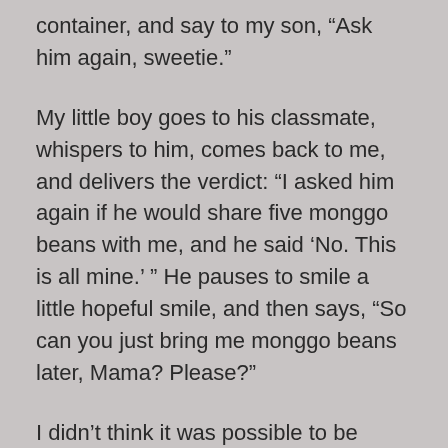container, and say to my son, “Ask him again, sweetie.”
My little boy goes to his classmate, whispers to him, comes back to me, and delivers the verdict: “I asked him again if he would share five monggo beans with me, and he said ‘No. This is all mine.’ ” He pauses to smile a little hopeful smile, and then says, “So can you just bring me monggo beans later, Mama? Please?”
I didn’t think it was possible to be stunned twice in the span of five minutes, but there we go. I was flabbergasted.
You see, these things are tiny. Have you ever seen a